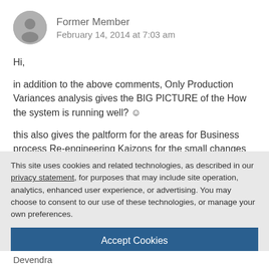Former Member
February 14, 2014 at 7:03 am
Hi,
in addition to the above comments, Only Production Variances analysis gives the BIG PICTURE of the How the system is running well? ☺
this also gives the paltform for the areas for Business process Re-engineering Kaizons for the small changes to avoid losses
This site uses cookies and related technologies, as described in our privacy statement, for purposes that may include site operation, analytics, enhanced user experience, or advertising. You may choose to consent to our use of these technologies, or manage your own preferences.
Accept Cookies
More Information
Privacy Policy | Powered by: TrustArc
Devendra